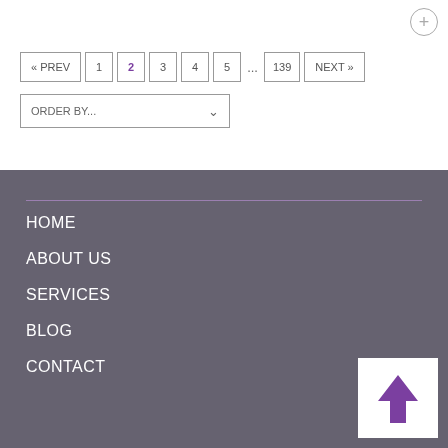+
« PREV
1
2
3
4
5
... 139
NEXT »
ORDER BY...
HOME
ABOUT US
SERVICES
BLOG
CONTACT